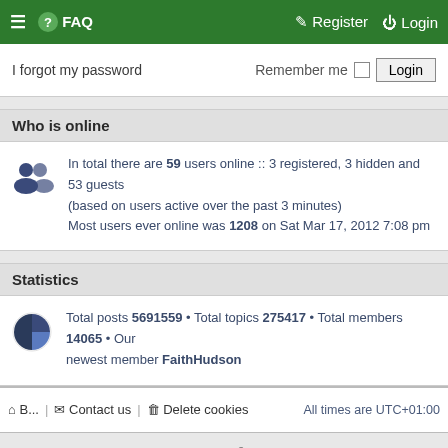≡ ? FAQ    Register   Login
I forgot my password    Remember me  Login
Who is online
In total there are 59 users online :: 3 registered, 3 hidden and 53 guests (based on users active over the past 3 minutes)
Most users ever online was 1208 on Sat Mar 17, 2012 7:08 pm
Statistics
Total posts 5691559 • Total topics 275417 • Total members 14065 • Our newest member FaithHudson
B...   Contact us   Delete cookies   All times are UTC+01:00
CyberEagles style by © Alfredo Ramos
Based on MyInvision by Brad Veryard and MannixMD
Powered by phpBB® Forum Software © phpBB Limited
Privacy | Terms